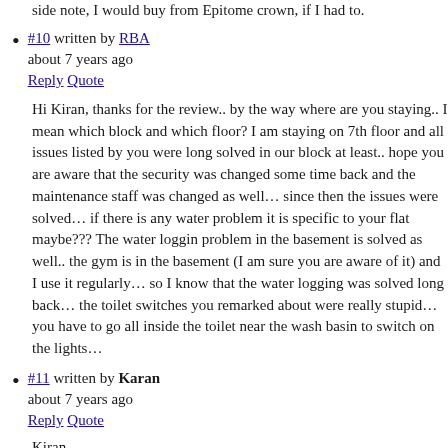side note, I would buy from Epitome crown, if I had to.
#10 written by RBA
about 7 years ago
Reply Quote
Hi Kiran, thanks for the review.. by the way where are you staying.. I mean which block and which floor? I am staying on 7th floor and all issues listed by you were long solved in our block at least.. hope you are aware that the security was changed some time back and the maintenance staff was changed as well… since then the issues were solved… if there is any water problem it is specific to your flat maybe??? The water loggin problem in the basement is solved as well.. the gym is in the basement (I am sure you are aware of it) and I use it regularly… so I know that the water logging was solved long back… the toilet switches you remarked about were really stupid… you have to go all inside the toilet near the wash basin to switch on the lights…
#11 written by Karan
about 7 years ago
Reply Quote
Kiran